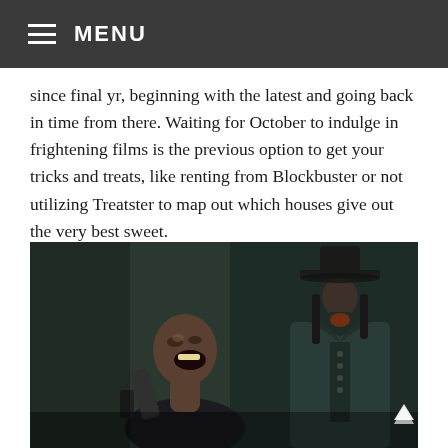☰ MENU
since final yr, beginning with the latest and going back in time from there. Waiting for October to indulge in frightening films is the previous option to get your tricks and treats, like renting from Blockbuster or not utilizing Treatster to map out which houses give out the very best sweet.
[Figure (photo): A dramatic scene from a horror or period film showing two figures in dark clothing — one person appearing to scream or gasp with mouth wide open, another figure standing behind wearing a wide-brimmed hat and long dark coat.]